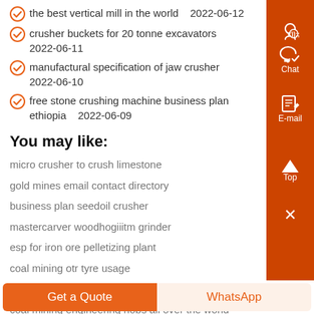the best vertical mill in the world    2022-06-12
crusher buckets for 20 tonne excavators    2022-06-11
manufactural specification of jaw crusher    2022-06-10
free stone crushing machine business plan ethiopia    2022-06-09
You may like:
micro crusher to crush limestone
gold mines email contact directory
business plan seedoil crusher
mastercarver woodhogiiitm grinder
esp for iron ore pelletizing plant
coal mining otr tyre usage
mobile gold plant for sale in south africa
coal mining engineering nobs all over the world